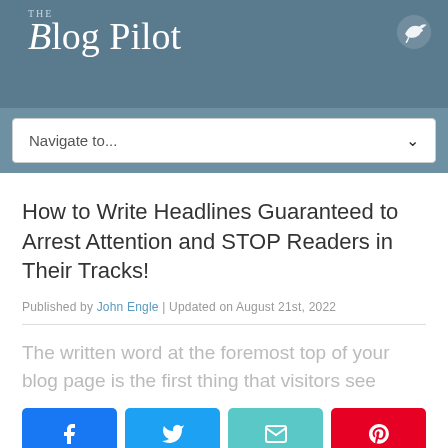THE Blog Pilot
[Figure (logo): The Blog Pilot logo with bird icon on slate-blue header background]
Navigate to...
How to Write Headlines Guaranteed to Arrest Attention and STOP Readers in Their Tracks!
Published by John Engle | Updated on August 21st, 2022
The written word at the foremost top of your blog page is the first thing that visitors see
[Figure (infographic): Social share buttons: Facebook (blue), Twitter (light blue), Email (teal), Pinterest (red)]